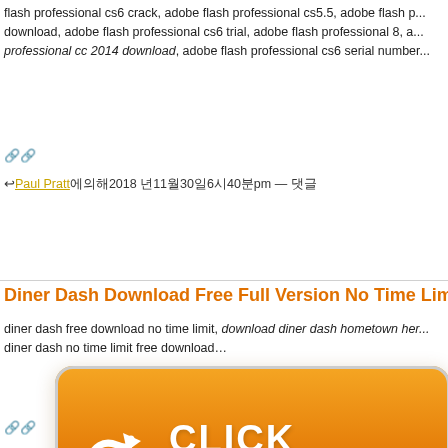flash professional cs6 crack, adobe flash professional cs5.5, adobe flash p... download, adobe flash professional cs6 trial, adobe flash professional 8, a... professional cc 2014 download, adobe flash professional cs6 serial number...
🔗
↩Paul Pratt에의해2018 년11월30일6시40분pm — 댓글
Diner Dash Download Free Full Version No Time Lim...
diner dash free download no time limit, download diner dash hometown her... diner dash no time limit free download…
[Figure (other): Orange rounded button with white arrow icon and 'CLICK HERE' text in bold white letters]
🔗